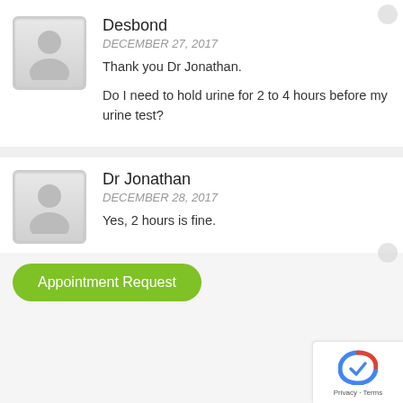[Figure (illustration): User avatar placeholder icon for Desbond]
Desbond
DECEMBER 27, 2017
Thank you Dr Jonathan.
Do I need to hold urine for 2 to 4 hours before my urine test?
[Figure (illustration): User avatar placeholder icon for Dr Jonathan]
Dr Jonathan
DECEMBER 28, 2017
Yes, 2 hours is fine.
Appointment Request